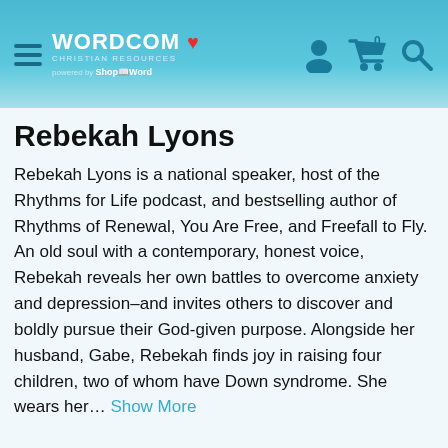WORDCOM Christian Resources - powered by ShopTheWord
Rebekah Lyons
Rebekah Lyons is a national speaker, host of the Rhythms for Life podcast, and bestselling author of Rhythms of Renewal, You Are Free, and Freefall to Fly. An old soul with a contemporary, honest voice, Rebekah reveals her own battles to overcome anxiety and depression–and invites others to discover and boldly pursue their God-given purpose. Alongside her husband, Gabe, Rebekah finds joy in raising four children, two of whom have Down syndrome. She wears her… Show More